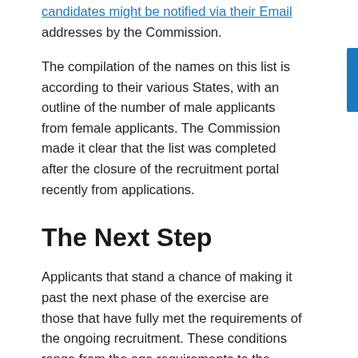candidates might be notified via their Email addresses by the Commission.
The compilation of the names on this list is according to their various States, with an outline of the number of male applicants from female applicants. The Commission made it clear that the list was completed after the closure of the recruitment portal recently from applications.
The Next Step
Applicants that stand a chance of making it past the next phase of the exercise are those that have fully met the requirements of the ongoing recruitment. These conditions range from the age requirements to the certificates, Nationality, physical and mental fitness and character of the applicants.